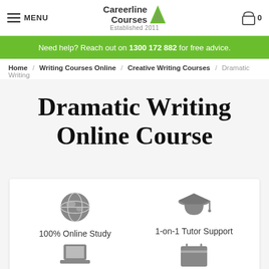MENU | Careerline Courses Established 2011 | 0
Need help? Reach out on 1300 172 882 for free advice.
Home / Writing Courses Online / Creative Writing Courses / Dramatic Writing
Dramatic Writing Online Course
[Figure (infographic): Feature icons: globe (100% Online Study), graduation cap (1-on-1 Tutor Support), laptop and calendar icons (partially visible at bottom)]
100% Online Study
1-on-1 Tutor Support